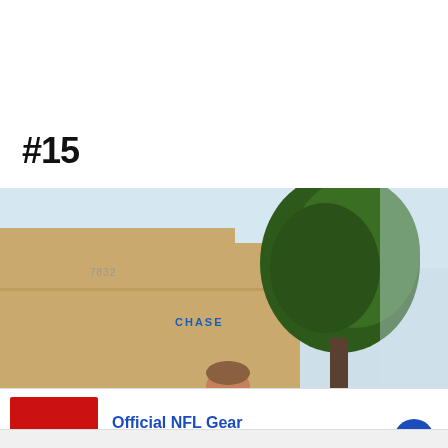#15
[Figure (photo): Photo taken from a low angle looking up at a tan/beige commercial building with the number 7832 on it and a Chase bank sign, with a large tree next to the building against a light blue sky. A person's head is partially visible at the bottom edge of the frame.]
[Figure (infographic): Advertisement for NFL Shop: red banner with '60% OFF' text, title 'Official NFL Gear', subtitle 'Get Your Favorite Team's Gear Here', URL 'www.nflshop.com', blue circular arrow button on the right. Close (x) button and info arrow visible.]